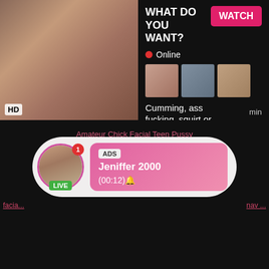[Figure (screenshot): Adult ad banner with video thumbnail on left and call-to-action on right. Left side shows a blurred video thumbnail with HD badge. Right side has 'WHAT DO YOU WANT?' text, pink WATCH button, Online status, three small thumbnails, text 'Cumming, ass fucking, squirt or...' and ADS label.]
WHAT DO YOU WANT?
WATCH
Online
Cumming, ass fucking, squirt or...
• ADS
HD
min
Amateur Chick Facial Teen Pussy
facia...
nav ...
[Figure (screenshot): Live notification popup pill showing avatar with LIVE badge, notification badge with '1', ADS tag, name 'Jeniffer 2000', and time '(00:12)' on pink gradient background.]
ADS
Jeniffer 2000
(00:12)🔔
LIVE
1